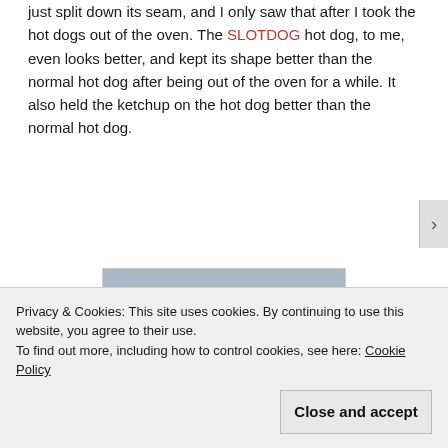just split down its seam, and I only saw that after I took the hot dogs out of the oven. The SLOTDOG hot dog, to me, even looks better, and kept its shape better than the normal hot dog after being out of the oven for a while. It also held the ketchup on the hot dog better than the normal hot dog.
[Figure (photo): Two hot dogs with ketchup on buns shown from above, plus two close-up detail images at the bottom showing the hot dog texture and ketchup]
Privacy & Cookies: This site uses cookies. By continuing to use this website, you agree to their use.
To find out more, including how to control cookies, see here: Cookie Policy
Close and accept